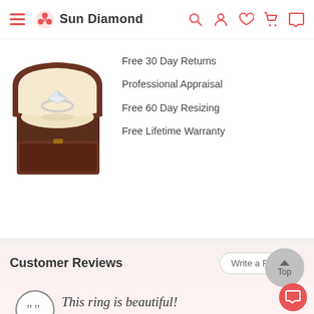Sun Diamond
[Figure (photo): A diamond ring in an open dark brown jewelry box with cream interior]
Free 30 Day Returns
Professional Appraisal
Free 60 Day Resizing
Free Lifetime Warranty
Customer Reviews
This ring is beautiful!
This ring is beautiful! It is very unique and it's so rare to be able to find a ring that is so different on the